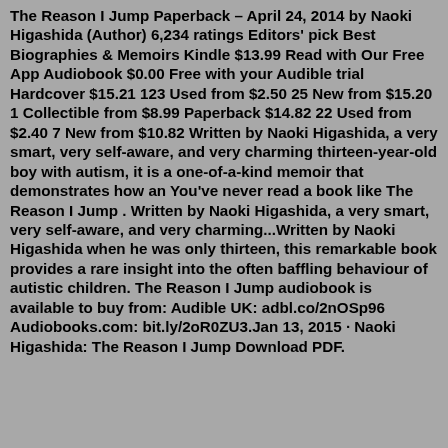The Reason I Jump Paperback – April 24, 2014 by Naoki Higashida (Author) 6,234 ratings Editors' pick Best Biographies & Memoirs Kindle $13.99 Read with Our Free App Audiobook $0.00 Free with your Audible trial Hardcover $15.21 123 Used from $2.50 25 New from $15.20 1 Collectible from $8.99 Paperback $14.82 22 Used from $2.40 7 New from $10.82 Written by Naoki Higashida, a very smart, very self-aware, and very charming thirteen-year-old boy with autism, it is a one-of-a-kind memoir that demonstrates how an You've never read a book like The Reason I Jump . Written by Naoki Higashida, a very smart, very self-aware, and very charming...Written by Naoki Higashida when he was only thirteen, this remarkable book provides a rare insight into the often baffling behaviour of autistic children. The Reason I Jump audiobook is available to buy from: Audible UK: adbl.co/2nOSp96 Audiobooks.com: bit.ly/2oR0ZU3.Jan 13, 2015 · Naoki Higashida: The Reason I Jump Download PDF.